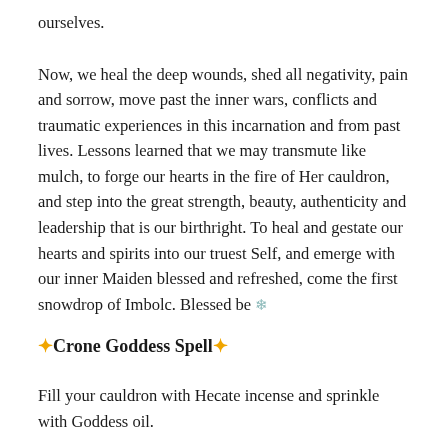ourselves.
Now, we heal the deep wounds, shed all negativity, pain and sorrow, move past the inner wars, conflicts and traumatic experiences in this incarnation and from past lives. Lessons learned that we may transmute like mulch, to forge our hearts in the fire of Her cauldron, and step into the great strength, beauty, authenticity and leadership that is our birthright. To heal and gestate our hearts and spirits into our truest Self, and emerge with our inner Maiden blessed and refreshed, come the first snowdrop of Imbolc. Blessed be ❄
✦Crone Goddess Spell✦
Fill your cauldron with Hecate incense and sprinkle with Goddess oil.